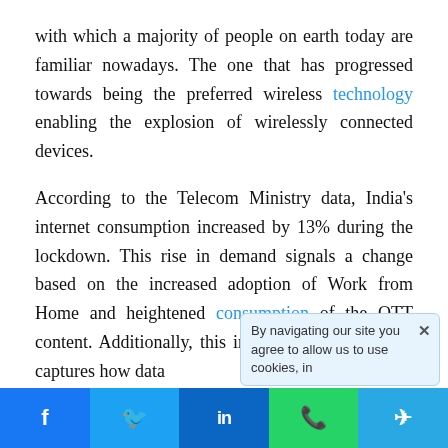with which a majority of people on earth today are familiar nowadays. The one that has progressed towards being the preferred wireless technology enabling the explosion of wirelessly connected devices.
According to the Telecom Ministry data, India's internet consumption increased by 13% during the lockdown. This rise in demand signals a change based on the increased adoption of Work from Home and heightened consumption of the OTT content. Additionally, this increase in demand also captures how data